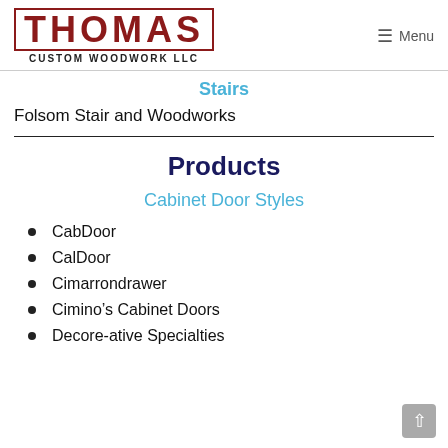THOMAS CUSTOM WOODWORK LLC | Menu
Stairs
Folsom Stair and Woodworks
Products
Cabinet Door Styles
CabDoor
CalDoor
Cimarrondrawer
Cimino's Cabinet Doors
Decore-ative Specialties